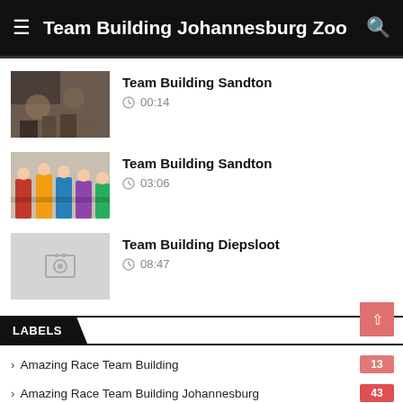Team Building Johannesburg Zoo
Team Building Sandton — 00:14
Team Building Sandton — 03:06
Team Building Diepsloot — 08:47
LABELS
> Amazing Race Team Building  13
> Amazing Race Team Building Johannesburg  43